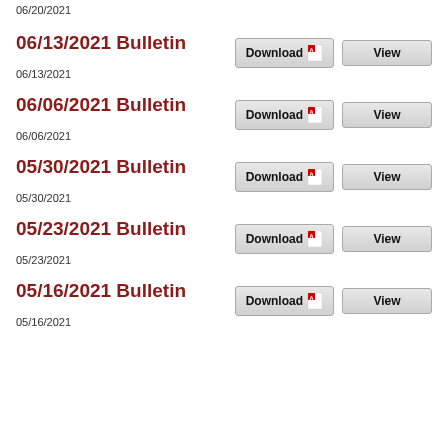06/20/2021
06/13/2021 Bulletin
06/13/2021
06/06/2021 Bulletin
06/06/2021
05/30/2021 Bulletin
05/30/2021
05/23/2021 Bulletin
05/23/2021
05/16/2021 Bulletin
05/16/2021